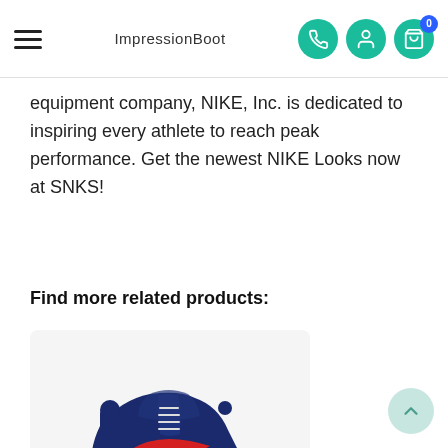ImpressionBoot
equipment company, NIKE, Inc. is dedicated to inspiring every athlete to reach peak performance. Get the newest NIKE Looks now at SNKS!
Find more related products:
[Figure (photo): Nike basketball sneaker — navy blue with red swoosh and gum sole]